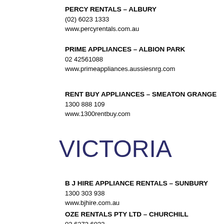PERCY RENTALS – ALBURY
(02) 6023 1333
www.percyrentals.com.au
PRIME APPLIANCES – ALBION PARK
02 42561088
www.primeappliances.aussiesnrg.com
RENT BUY APPLIANCES – SMEATON GRANGE
1300 888 109
www.1300rentbuy.com
VICTORIA
B J HIRE APPLIANCE RENTALS – SUNBURY
1300 303 938
www.bjhire.com.au
OZE RENTALS PTY LTD – CHURCHILL
03 6273 6033